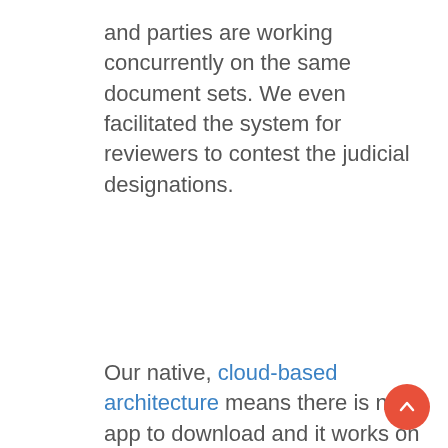and parties are working concurrently on the same document sets. We even facilitated the system for reviewers to contest the judicial designations.
Our native, cloud-based architecture means there is no app to download and it works on your iPad, iPhone, Windows or Mac desktop, or whatever platform you use. It’s the same functionality and flexible tools you have on your desktop, but available anywhere. If that doesn’t make you a power user on the iPad, nothing will.